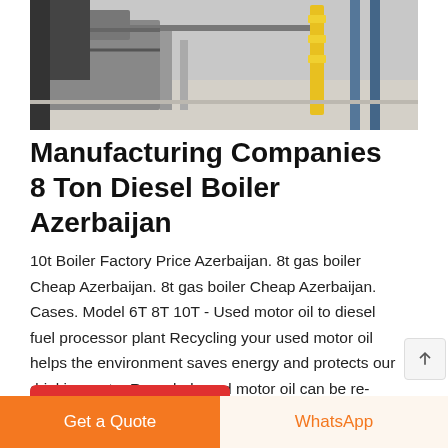[Figure (photo): Industrial boiler or diesel fuel processing machinery, partial view showing pipes, valves, and metal framework]
Manufacturing Companies 8 Ton Diesel Boiler Azerbaijan
10t Boiler Factory Price Azerbaijan. 8t gas boiler Cheap Azerbaijan. 8t gas boiler Cheap Azerbaijan. Cases. Model 6T 8T 10T - Used motor oil to diesel fuel processor plant Recycling your used motor oil helps the environment saves energy and protects our drinking water.Recycled used motor oil can be re-refined into new oil processed into fuel oils and used as raw materials
Get a quote
Get a Quote
WhatsApp